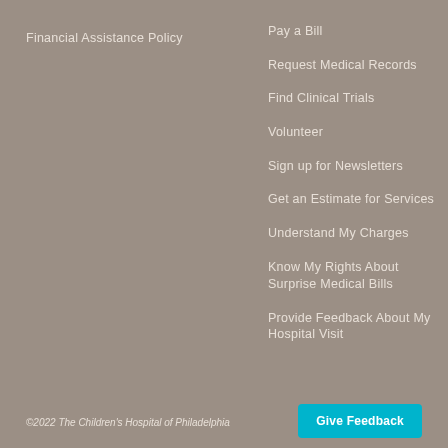Financial Assistance Policy
Pay a Bill
Request Medical Records
Find Clinical Trials
Volunteer
Sign up for Newsletters
Get an Estimate for Services
Understand My Charges
Know My Rights About Surprise Medical Bills
Provide Feedback About My Hospital Visit
©2022 The Children's Hospital of Philadelphia
Give Feedback